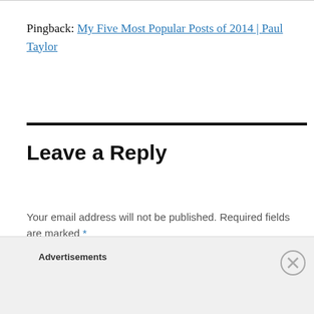Pingback: My Five Most Popular Posts of 2014 | Paul Taylor
Leave a Reply
Your email address will not be published. Required fields are marked *
COMMENT *
Advertisements